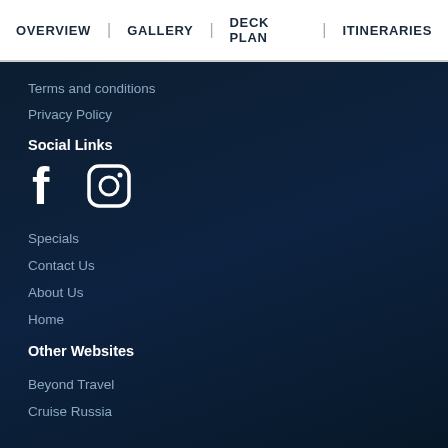OVERVIEW | GALLERY | DECK PLAN | ITINERARIES
Terms and conditions
Privacy Policy
Social Links
[Figure (illustration): Facebook and Instagram social media icons in white]
Specials
Contact Us
About Us
Home
Other Websites
Beyond Travel
Cruise Russia